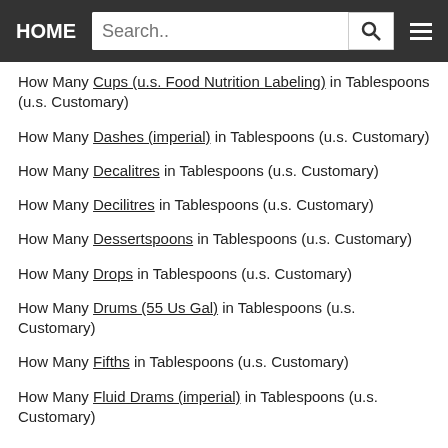HOME | Search..
How Many Cups (u.s. Food Nutrition Labeling) in Tablespoons (u.s. Customary)
How Many Dashes (imperial) in Tablespoons (u.s. Customary)
How Many Decalitres in Tablespoons (u.s. Customary)
How Many Decilitres in Tablespoons (u.s. Customary)
How Many Dessertspoons in Tablespoons (u.s. Customary)
How Many Drops in Tablespoons (u.s. Customary)
How Many Drums (55 Us Gal) in Tablespoons (u.s. Customary)
How Many Fifths in Tablespoons (u.s. Customary)
How Many Fluid Drams (imperial) in Tablespoons (u.s. Customary)